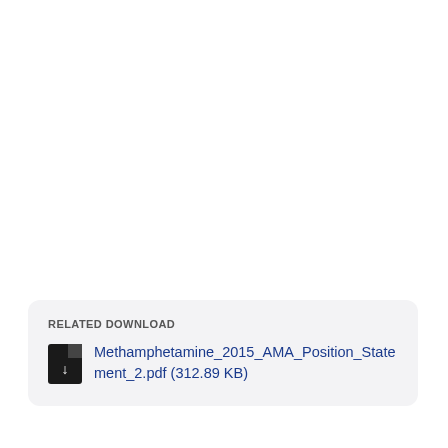RELATED DOWNLOAD
Methamphetamine_2015_AMA_Position_Statement_2.pdf (312.89 KB)